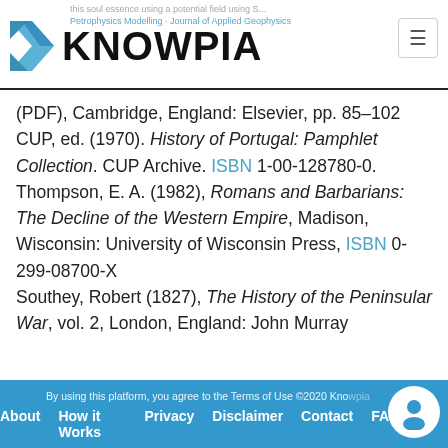KNOWPIA
(PDF), Cambridge, England: Elsevier, pp. 85–102 CUP, ed. (1970). History of Portugal: Pamphlet Collection. CUP Archive. ISBN 1-00-128780-0. Thompson, E. A. (1982), Romans and Barbarians: The Decline of the Western Empire, Madison, Wisconsin: University of Wisconsin Press, ISBN 0-299-08700-X Southey, Robert (1827), The History of the Peninsular War, vol. 2, London, England: John Murray
By using this platform, you agree to the Terms of Use ©2020 Knowpia   About   How it Works   Privacy   Disclaimer   Contact   FAQ